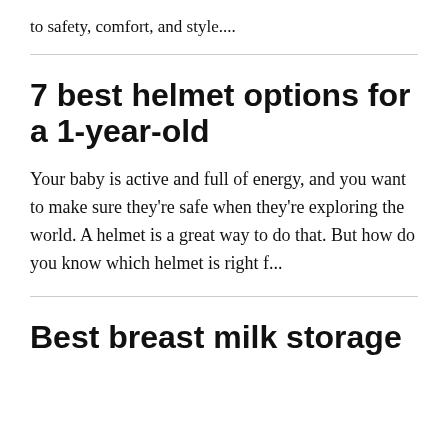to safety, comfort, and style....
7 best helmet options for a 1-year-old
Your baby is active and full of energy, and you want to make sure they're safe when they're exploring the world. A helmet is a great way to do that. But how do you know which helmet is right f...
Best breast milk storage